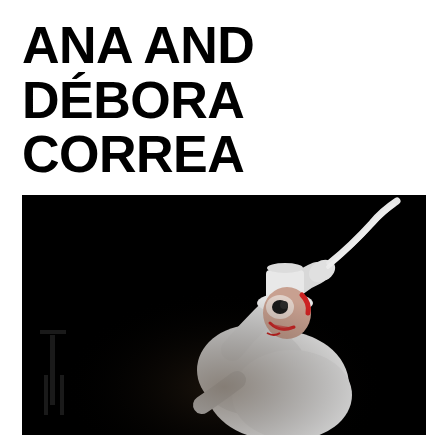ANA AND DÉBORA CORREA
[Figure (photo): A performer in a white clown costume with a white hat and clown makeup, holding and extending a long white ribbon or paper strip upward against a dark black background. The clown is smiling/laughing and wearing white gloves. A dark chair is faintly visible in the background on the left.]